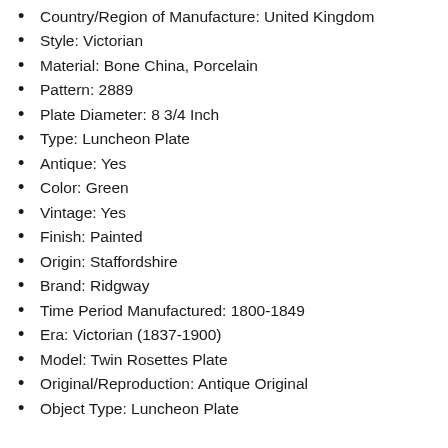Country/Region of Manufacture: United Kingdom
Style: Victorian
Material: Bone China, Porcelain
Pattern: 2889
Plate Diameter: 8 3/4 Inch
Type: Luncheon Plate
Antique: Yes
Color: Green
Vintage: Yes
Finish: Painted
Origin: Staffordshire
Brand: Ridgway
Time Period Manufactured: 1800-1849
Era: Victorian (1837-1900)
Model: Twin Rosettes Plate
Original/Reproduction: Antique Original
Object Type: Luncheon Plate